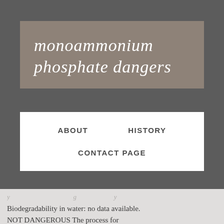monoammonium phosphate dangers
ABOUT
HISTORY
CONTACT PAGE
Biodegradability in water: no data available. NOT DANGEROUS The process for manufacturing MAP is relatively simple. 1. Growing Monoammonium Phosphate Crystals . 2017 May;174:515-523. doi: